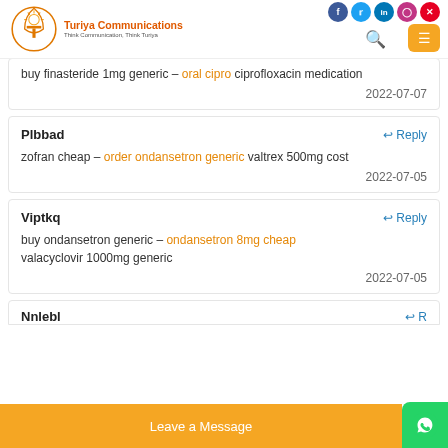Turiya Communications - Think Communication, Think Turiya
buy finasteride 1mg generic - oral cipro ciprofloxacin medication
2022-07-07
Plbbad
zofran cheap - order ondansetron generic valtrex 500mg cost
2022-07-05
Viptkq
buy ondansetron generic - ondansetron 8mg cheap valacyclovir 1000mg generic
2022-07-05
Nnlebl